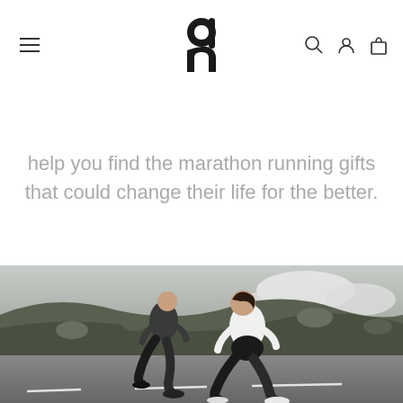On Running logo, navigation: hamburger menu, search, account, cart
help you find the marathon running gifts that could change their life for the better.
[Figure (photo): Two runners — a man in black and a woman in white — running on a mountain road with rocky, snow-patched alpine scenery in the background.]